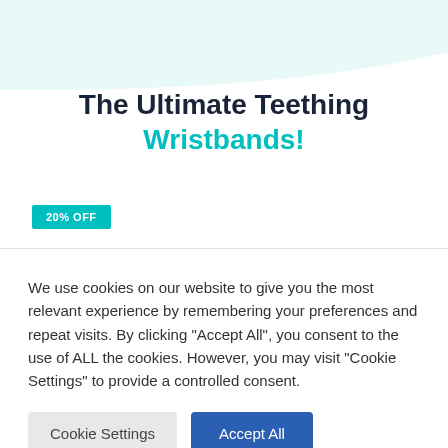[Figure (illustration): Light teal wave/blob shape in top-left corner as decorative background element]
The Ultimate Teething Wristbands!
20% OFF
We use cookies on our website to give you the most relevant experience by remembering your preferences and repeat visits. By clicking “Accept All”, you consent to the use of ALL the cookies. However, you may visit “Cookie Settings” to provide a controlled consent.
Cookie Settings | Accept All